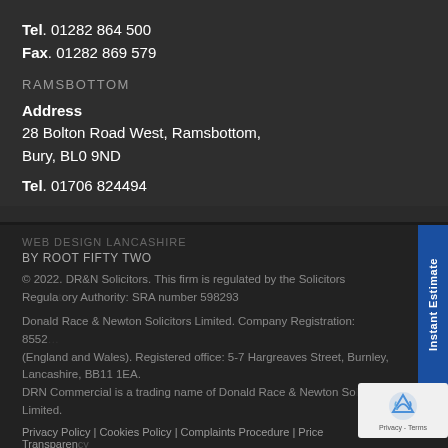Tel. 01282 864 500
Fax. 01282 869 579
RAMSBOTTOM
Address
28 Bolton Road West, Ramsbottom,
Bury, BL0 9ND
Tel. 01706 824494
WEB DESIGN LANCASHIRE
BY ROOT FIFTY TWO
© 2022. DR&N Solicitors. This firm is regulated by the Solicitors Regulatory Authority: SRA number 598293
Donald Race & Newton Solicitors Limited. Company Registration: 8552… (England and Wales). Registered office: 5-7 Hargreaves Street, Burnley, Lancashire, BB11 1EA.
DRN Commercial is a trading name of Donald Race & Newton Solicitors Limited.
Privacy Policy | Cookies Policy | Complaints Procedure | Price Transparency